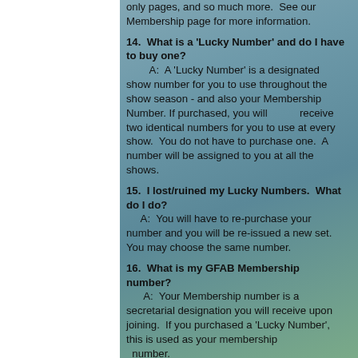only pages, and so much more.  See our Membership page for more information.
14.  What is a 'Lucky Number' and do I have to buy one?
        A:  A 'Lucky Number' is a designated show number for you to use throughout the show season - and also your Membership Number.  If purchased, you will          receive two identical numbers for you to use at every show.  You do not have to purchase one.  A number will be assigned to you at all the shows.
15.  I lost/ruined my Lucky Numbers.  What do I do?
        A:  You will have to re-purchase your number and you will be re-issued a new set.  You may choose the same number.
16.  What is my GFAB Membership number?
        A:  Your Membership number is a secretarial designation you will receive upon joining.  If you purchased a 'Lucky Number', this is used as your membership
  number.